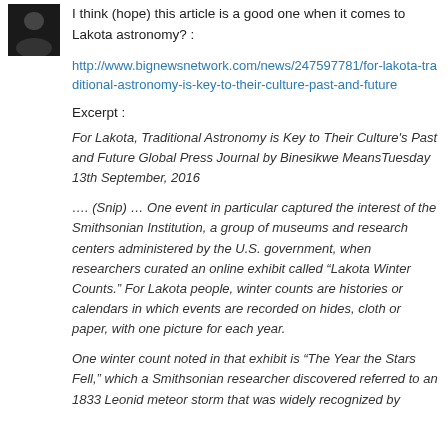[Figure (photo): Small dark avatar/profile photo in top-left corner]
I think (hope) this article is a good one when it comes to Lakota astronomy? :
http://www.bignewsnetwork.com/news/247597781/for-lakota-traditional-astronomy-is-key-to-their-culture-past-and-future
Excerpt :
For Lakota, Traditional Astronomy is Key to Their Culture's Past and Future Global Press Journal by Binesikwe MeansTuesday 13th September, 2016
…. (Snip) … One event in particular captured the interest of the Smithsonian Institution, a group of museums and research centers administered by the U.S. government, when researchers curated an online exhibit called “Lakota Winter Counts.” For Lakota people, winter counts are histories or calendars in which events are recorded on hides, cloth or paper, with one picture for each year.
One winter count noted in that exhibit is “The Year the Stars Fell,” which a Smithsonian researcher discovered referred to an 1833 Leonid meteor storm that was widely recognized by